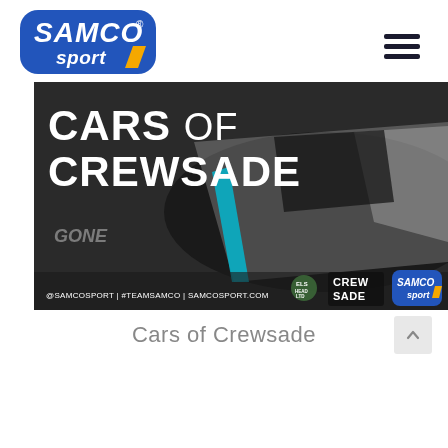[Figure (logo): Samco Sport logo — blue rounded rectangle with white SAMCO text in italic bold and 'sport' in smaller italic, registered trademark symbol]
[Figure (photo): Promotional banner image for Cars of Crewsade. Shows a black and white McLaren supercar on a track. Large white bold text reads CARS OF CREWSADE overlaid on the left. Bottom of image shows @SAMCOSPORT | #TEAMSAMCO | SAMCOSPORT.COM and logos for ELS Head LTD, CREWSADE, and Samco Sport.]
Cars of Crewsade